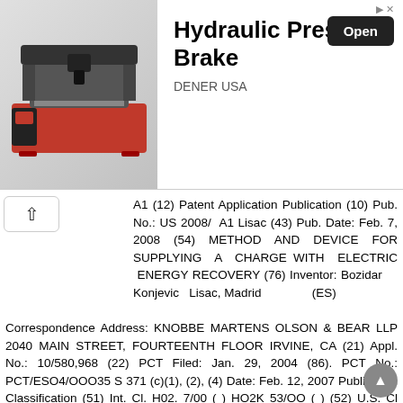[Figure (advertisement): Ad banner for Hydraulic Press Brake by DENER USA with an image of a CNC/press machine, an Open button, and an ad marker arrow icon.]
A1 (12) Patent Application Publication (10) Pub. No.: US 2008/ A1 Lisac (43) Pub. Date: Feb. 7, 2008 (54) METHOD AND DEVICE FOR SUPPLYING A CHARGE WITH ELECTRIC ENERGY RECOVERY (76) Inventor: Bozidar Konjevic Lisac, Madrid (ES)
Correspondence Address: KNOBBE MARTENS OLSON & BEAR LLP 2040 MAIN STREET, FOURTEENTH FLOOR IRVINE, CA (21) Appl. No.: 10/580,968 (22) PCT Filed: Jan. 29, 2004 (86). PCT No.: PCT/ESO4/OOO35 S 371 (c)(1), (2), (4) Date: Feb. 12, 2007 Publication Classification (51) Int. Cl. H02. 7/00 ( ) HO2K 53/OO ( ) (52) U.S. Cl /103; 320/128; 320/167; 415/916 (57) ABSTRACT In the invention an electric current circulates from the battery